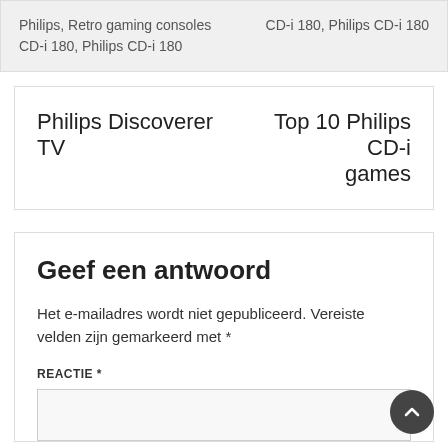Philips, Retro gaming consoles CD-i 180, Philips CD-i 180
Philips Discoverer TV    Top 10 Philips CD-i games
Geef een antwoord
Het e-mailadres wordt niet gepubliceerd. Vereiste velden zijn gemarkeerd met *
REACTIE *